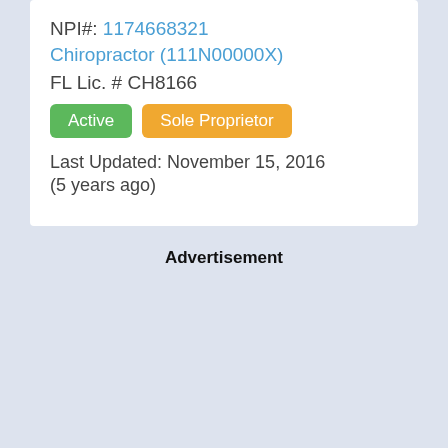NPI#: 1174668321
Chiropractor (111N00000X)
FL Lic. # CH8166
Active
Sole Proprietor
Last Updated: November 15, 2016
(5 years ago)
Advertisement